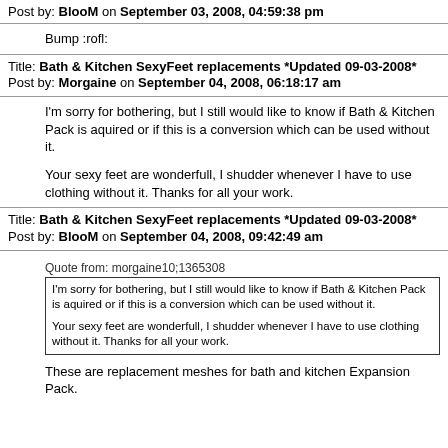Post by: BlooM on September 03, 2008, 04:59:38 pm
Bump :rofl:
Title: Bath & Kitchen SexyFeet replacements *Updated 09-03-2008*
Post by: Morgaine on September 04, 2008, 06:18:17 am
I'm sorry for bothering, but I still would like to know if Bath & Kitchen Pack is aquired or if this is a conversion which can be used without it.

Your sexy feet are wonderfull, I shudder whenever I have to use clothing without it. Thanks for all your work.
Title: Bath & Kitchen SexyFeet replacements *Updated 09-03-2008*
Post by: BlooM on September 04, 2008, 09:42:49 am
Quote from: morgaine10;1365308
I'm sorry for bothering, but I still would like to know if Bath & Kitchen Pack is aquired or if this is a conversion which can be used without it.

Your sexy feet are wonderfull, I shudder whenever I have to use clothing without it. Thanks for all your work.
These are replacement meshes for bath and kitchen Expansion Pack.